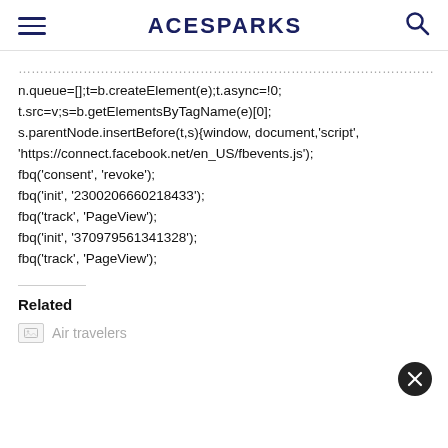ACESPARKS
n.queue=[];t=b.createElement(e);t.async=!0;
t.src=v;s=b.getElementsByTagName(e)[0];
s.parentNode.insertBefore(t,s)}{window, document,'script',
'https://connect.facebook.net/en_US/fbevents.js');
fbq('consent', 'revoke');
fbq('init', '2300206660218433');
fbq('track', 'PageView');
fbq('init', '370979561341328');
fbq('track', 'PageView');
Related
[Figure (photo): Air travelers thumbnail placeholder image]